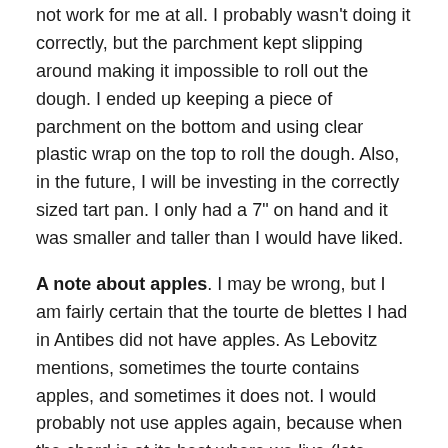not work for me at all. I probably wasn't doing it correctly, but the parchment kept slipping around making it impossible to roll out the dough. I ended up keeping a piece of parchment on the bottom and using clear plastic wrap on the top to roll the dough. Also, in the future, I will be investing in the correctly sized tart pan. I only had a 7" on hand and it was smaller and taller than I would have liked.
A note about apples. I may be wrong, but I am fairly certain that the tourte de blettes I had in Antibes did not have apples. As Lebovitz mentions, sometimes the tourte contains apples, and sometimes it does not. I would probably not use apples again, because when the chard is at its best where we live (late spring into summer) the apples are at their worst, and I was unable to find quality tart baking apples.